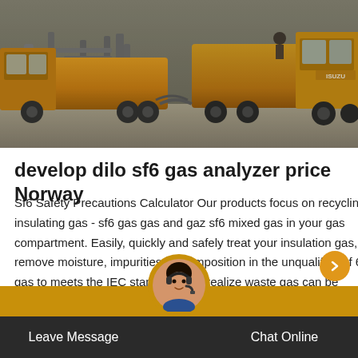[Figure (photo): Industrial site photograph showing yellow/orange trucks and gas pipeline equipment outdoors, with workers visible in the background.]
develop dilo sf6 gas analyzer price Norway
Sf6 Safety Precautions Calculator Our products focus on recycling insulating gas - sf6 gas gas and gaz sf6 mixed gas in your gas compartment. Easily, quickly and safely treat your insulation gas, remove moisture, impurities, decomposition in the unqualified sf 6 gas to meets the IEC standard, and realize waste gas can be reused again. 750kv-substation-onsite-service.
Leave Message   Chat Online